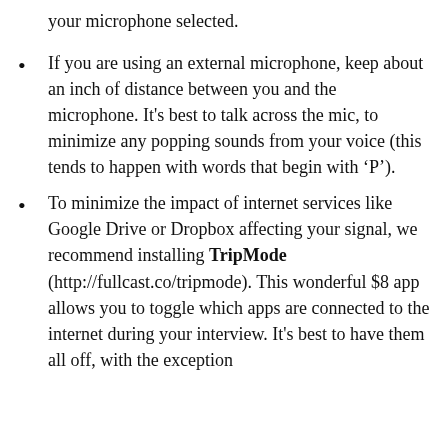your microphone selected.
If you are using an external microphone, keep about an inch of distance between you and the microphone. It's best to talk across the mic, to minimize any popping sounds from your voice (this tends to happen with words that begin with ‘P’).
To minimize the impact of internet services like Google Drive or Dropbox affecting your signal, we recommend installing TripMode (http://fullcast.co/tripmode). This wonderful $8 app allows you to toggle which apps are connected to the internet during your interview. It’s best to have them all off, with the exception